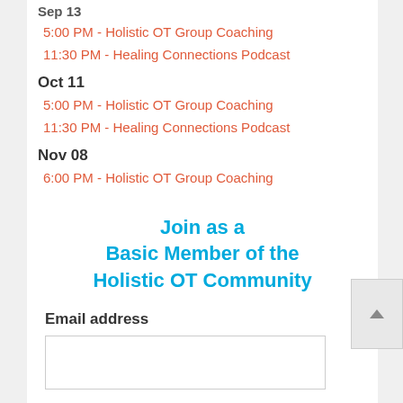Oct 11
5:00 PM - Holistic OT Group Coaching
11:30 PM - Healing Connections Podcast
Nov 08
6:00 PM - Holistic OT Group Coaching
Join as a Basic Member of the Holistic OT Community
Email address
Name